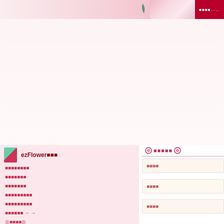ezFlower website page header with banner
ezFlower目錄
■■■■■■■■
■■■■■■■■
■■■■■■■■
■■■■■■■■■
■■■■■■■■■
■■■■■■ → →
◎■■■■◎
◉■■■■◉
◇■■■■◇
■ ■■■■■ ■
Ψ ■■■■ Ψ
*~ ■ ■ ■ ■ ~*
◉ ■■■■■◉
■■■■
■■■■
■■■■